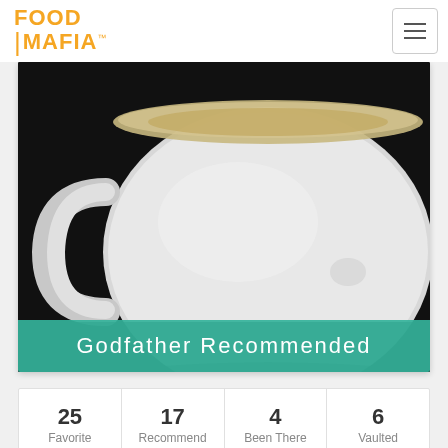FOOD MAFIA™
[Figure (photo): Close-up photo of a white ceramic cup/bowl against a dark background, with a teal banner overlay reading 'Godfather Recommended']
Godfather Recommended
| 25
Favorite | 17
Recommend | 4
Been There | 6
Vaulted |
Videos